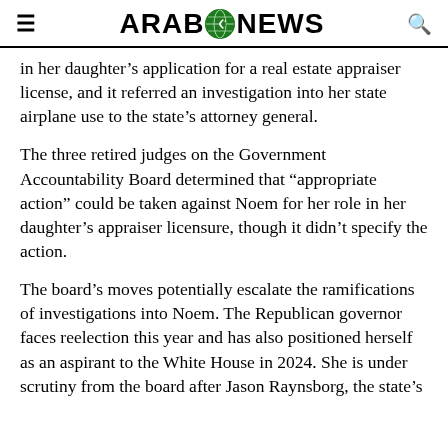ARAB NEWS
in her daughter's application for a real estate appraiser license, and it referred an investigation into her state airplane use to the state's attorney general.
The three retired judges on the Government Accountability Board determined that “appropriate action” could be taken against Noem for her role in her daughter’s appraiser licensure, though it didn’t specify the action.
The board’s moves potentially escalate the ramifications of investigations into Noem. The Republican governor faces reelection this year and has also positioned herself as an aspirant to the White House in 2024. She is under scrutiny from the board after Jason Raynsborg, the state’s